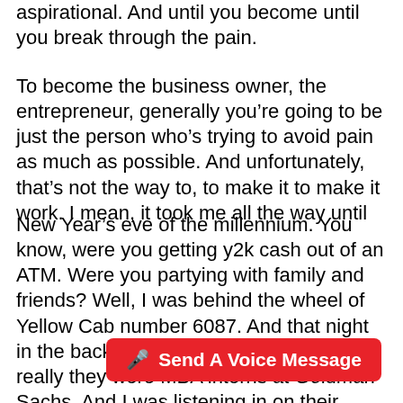aspirational. And until you become until you break through the pain.
To become the business owner, the entrepreneur, generally you’re going to be just the person who’s trying to avoid pain as much as possible. And unfortunately, that’s not the way to, to make it to make it work. I mean, it took me all the way until
New Year’s eve of the millennium. You know, were you getting y2k cash out of an ATM. Were you partying with family and friends? Well, I was behind the wheel of Yellow Cab number 6087. And that night in the back of my cab with these two kids, really they were MBA interns at Goldman Sachs. And I was listening in on their conversation. Hey, m… Carrera? They made [text obscured by button]